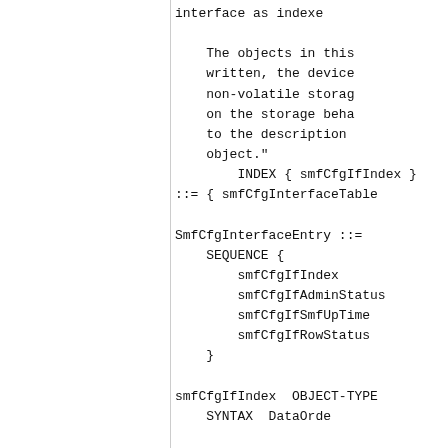interface as indexe

    The objects in this
    written, the device
    non-volatile storag
    on the storage beha
    to the description
    object."
INDEX { smfCfgIfIndex }
::= { smfCfgInterfaceTable

SmfCfgInterfaceEntry ::=
    SEQUENCE {
        smfCfgIfIndex
        smfCfgIfAdminStatus
        smfCfgIfSmfUpTime
        smfCfgIfRowStatus
    }

smfCfgIfIndex  OBJECT-TYPE
    SYNTAX  DataOrde